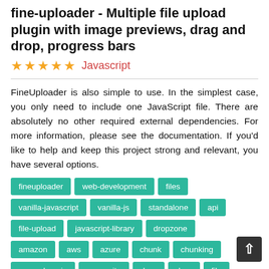fine-uploader - Multiple file upload plugin with image previews, drag and drop, progress bars
★★★★★  Javascript
FineUploader is also simple to use. In the simplest case, you only need to include one JavaScript file. There are absolutely no other required external dependencies. For more information, please see the documentation. If you'd like to help and keep this project strong and relevant, you have several options.
fineuploader
web-development
files
vanilla-javascript
vanilla-js
standalone
api
file-upload
javascript-library
dropzone
amazon
aws
azure
chunk
chunking
cross-domain
cross-site
drag
drop
file